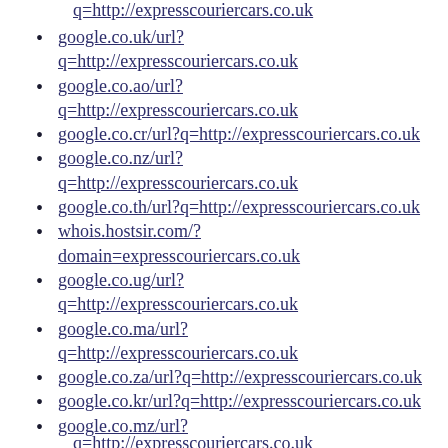q=http://expresscouriercars.co.uk (continuation)
google.co.uk/url?q=http://expresscouriercars.co.uk
google.co.ao/url?q=http://expresscouriercars.co.uk
google.co.cr/url?q=http://expresscouriercars.co.uk
google.co.nz/url?q=http://expresscouriercars.co.uk
google.co.th/url?q=http://expresscouriercars.co.uk
whois.hostsir.com/?domain=expresscouriercars.co.uk
google.co.ug/url?q=http://expresscouriercars.co.uk
google.co.ma/url?q=http://expresscouriercars.co.uk
google.co.za/url?q=http://expresscouriercars.co.uk
google.co.kr/url?q=http://expresscouriercars.co.uk
google.co.mz/url?q=http://expresscouriercars.co.uk (partial)